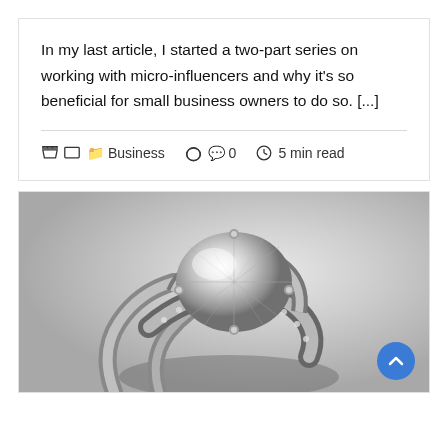In my last article, I started a two-part series on working with micro-influencers and why it's so beneficial for small business owners to do so. [...]
Business  0  5 min read
[Figure (photo): Black and white close-up photograph of a large diamond ring with ornate silver setting and pavé diamonds]